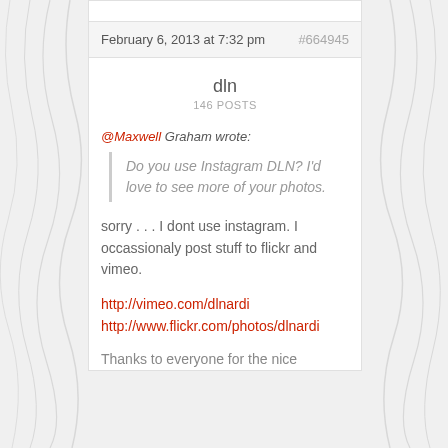February 6, 2013 at 7:32 pm  #664945
dln
146 POSTS
@Maxwell Graham wrote:
"Do you use Instagram DLN? I'd love to see more of your photos."
sorry . . . I dont use instagram. I occassionaly post stuff to flickr and vimeo.
http://vimeo.com/dlnardi
http://www.flickr.com/photos/dlnardi
Thanks to everyone for the nice